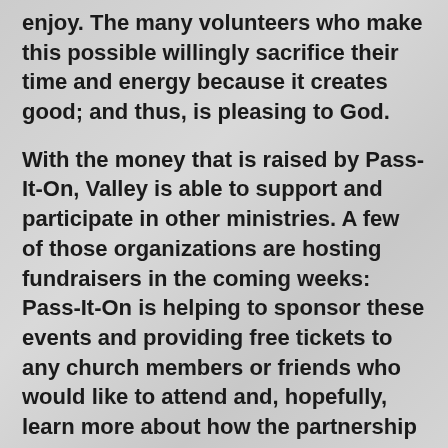enjoy.  The many volunteers who make this possible willingly sacrifice their time and energy because it creates good; and thus, is pleasing to God.
With the money that is raised by Pass-It-On, Valley is able to support and participate in other ministries.  A few of those organizations are hosting fundraisers in the coming weeks: Pass-It-On is helping to sponsor these events and providing free tickets to any church members or friends who would like to attend and, hopefully, learn more about how the partnership can continue to grow.  They are:
• Next Step – A transitional ministry providing housing and job training for young